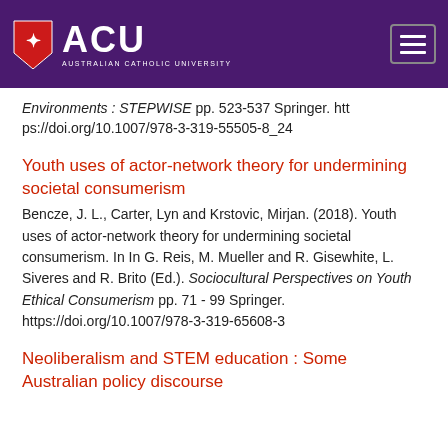[Figure (logo): ACU Australian Catholic University logo on purple header bar with hamburger menu icon]
Environments : STEPWISE pp. 523-537 Springer. https://doi.org/10.1007/978-3-319-55505-8_24
Youth uses of actor-network theory for undermining societal consumerism
Bencze, J. L., Carter, Lyn and Krstovic, Mirjan. (2018). Youth uses of actor-network theory for undermining societal consumerism. In In G. Reis, M. Mueller and R. Gisewhite, L. Siveres and R. Brito (Ed.). Sociocultural Perspectives on Youth Ethical Consumerism pp. 71 - 99 Springer. https://doi.org/10.1007/978-3-319-65608-3
Neoliberalism and STEM education : Some Australian policy discourse